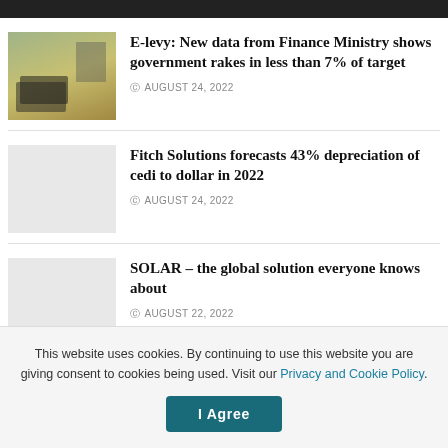E-levy: New data from Finance Ministry shows government rakes in less than 7% of target
AUGUST 24, 2022
Fitch Solutions forecasts 43% depreciation of cedi to dollar in 2022
AUGUST 24, 2022
SOLAR – the global solution everyone knows about
AUGUST 22, 2022
This website uses cookies. By continuing to use this website you are giving consent to cookies being used. Visit our Privacy and Cookie Policy.